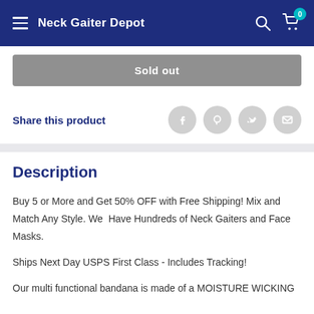Neck Gaiter Depot
Sold out
Share this product
Description
Buy 5 or More and Get 50% OFF with Free Shipping! Mix and Match Any Style. We Have Hundreds of Neck Gaiters and Face Masks.
Ships Next Day USPS First Class - Includes Tracking!
Our multi functional bandana is made of a MOISTURE WICKING